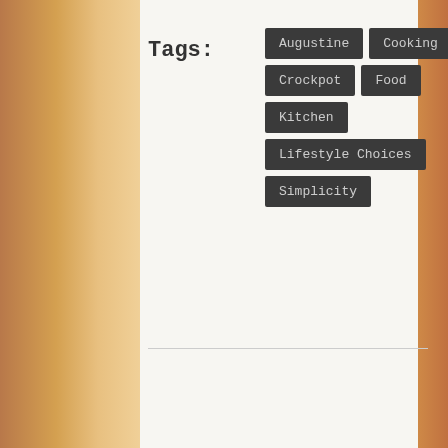Tags:
Augustine
Cooking
Crockpot
Food
Kitchen
Lifestyle Choices
Simplicity